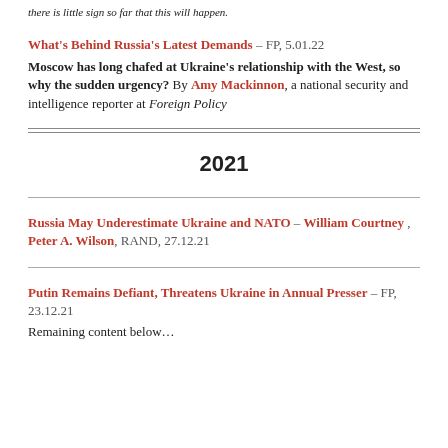there is little sign so far that this will happen.
What's Behind Russia's Latest Demands – FP, 5.01.22 Moscow has long chafed at Ukraine's relationship with the West, so why the sudden urgency? By Amy Mackinnon, a national security and intelligence reporter at Foreign Policy
2021
Russia May Underestimate Ukraine and NATO – William Courtney , Peter A. Wilson, RAND, 27.12.21
Putin Remains Defiant, Threatens Ukraine in Annual Presser – FP, 23.12.21